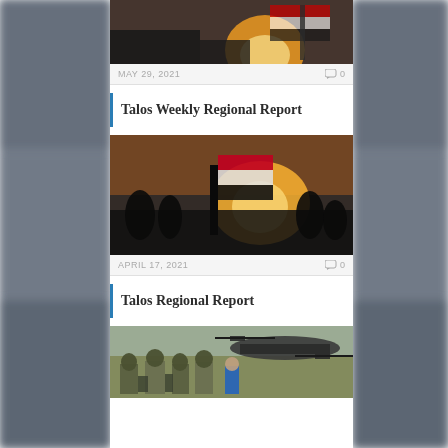[Figure (photo): Photo of a person holding an Iraqi flag at sunset with crowds in the background, partially visible at top]
MAY 29, 2021  💬 0
Talos Weekly Regional Report
[Figure (photo): Photo of a person waving an Iraqi flag at sunset with crowds, full view]
APRIL 17, 2021  💬 0
Talos Regional Report
[Figure (photo): Photo of soldiers in camouflage gear near a military helicopter on open ground]